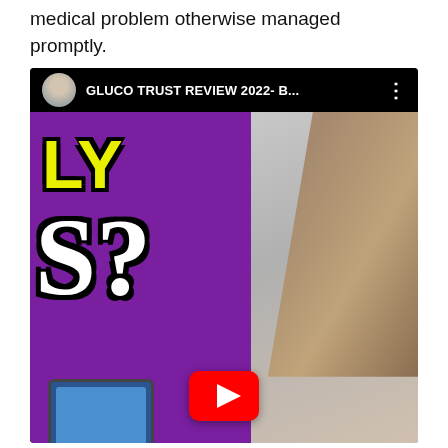medical problem otherwise managed promptly.
[Figure (screenshot): YouTube video thumbnail screenshot showing a video titled 'GLUCO TRUST REVIEW 2022- B...' with a channel avatar, purple background with large yellow 'LY' text and white 'S?' text, a tablet device at the bottom left, a woman's face on the right side, and a red YouTube play button centered at the bottom.]